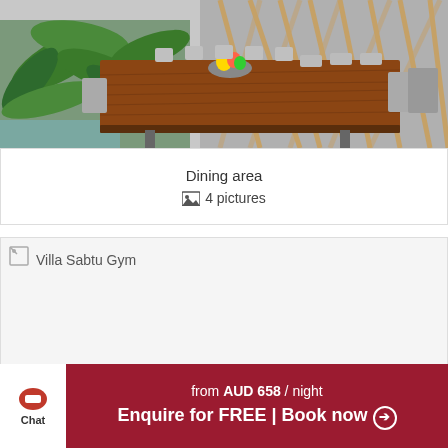[Figure (photo): Dining area photo showing a large wooden dining table with grey upholstered chairs in an open-air setting with tropical plants and bamboo wall decoration]
Dining area
🖼 4 pictures
[Figure (photo): Villa Sabtu Gym - image not loaded (broken image placeholder)]
Chat | from AUD 658 / night Enquire for FREE | Book now ⊙